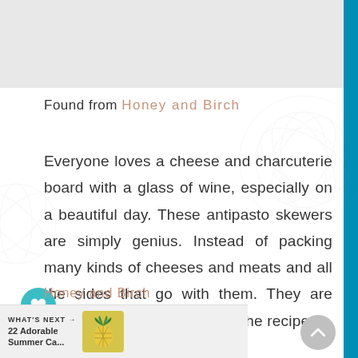Found from Honey and Birch
Everyone loves a cheese and charcuterie board with a glass of wine, especially on a beautiful day. These antipasto skewers are simply genius. Instead of packing many kinds of cheeses and meats and all the sides that go with them. They are easy to taste incredible. Get the recipe at
Honey and Birch
WHAT'S NEXT → 22 Adorable Summer Ca...